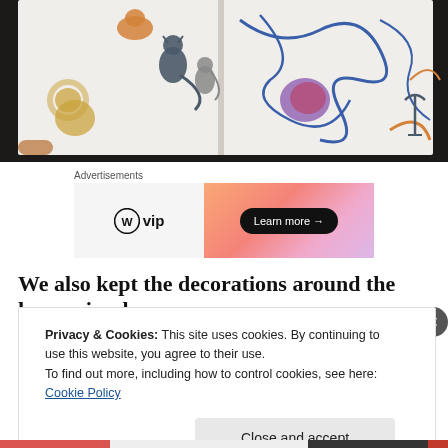[Figure (photo): Open sketchbook/drawing pad showing child drawings of cats on the left page and scribbles/crayon drawings on the right page, photographed on a dark surface]
Advertisements
[Figure (infographic): WordPress VIP advertisement banner with WP logo on left and 'Learn more →' button on orange/pink gradient background]
We also kept the decorations around the house simple.
Privacy & Cookies: This site uses cookies. By continuing to use this website, you agree to their use.
To find out more, including how to control cookies, see here: Cookie Policy
Close and accept